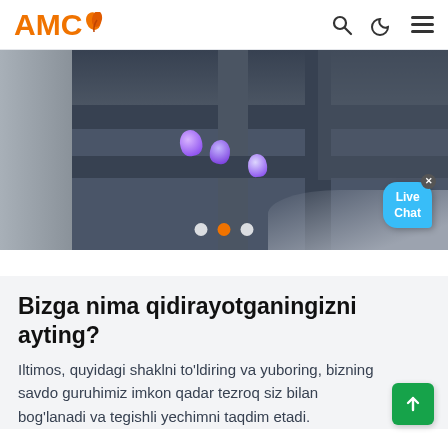AMC
[Figure (photo): Industrial machinery conveyor belt with purple items, steel beams and concrete structure. Carousel with 3 dots (second active/orange). Live Chat bubble in lower right corner.]
Bizga nima qidirayotganingizni ayting?
Iltimos, quyidagi shaklni to'ldiring va yuboring, bizning savdo guruhimiz imkon qadar tezroq siz bilan bog'lanadi va tegishli yechimni taqdim etadi.